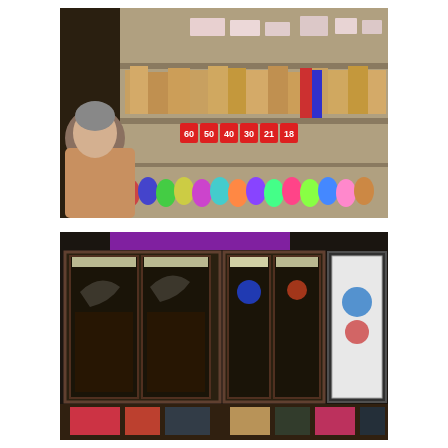[Figure (photo): Interior of a shop showing an elderly man in a tan sweater standing behind a counter with shelves stacked full of cardboard boxes and spools of colorful ribbons and tape. Price tags visible showing numbers 60, 50, 40, 30, 21, 18.]
[Figure (photo): Interior of a shop showing glass display cases with illuminated interiors containing various small items and decorations. A purple sign is visible at the top. Products are arranged on shelves and counters.]